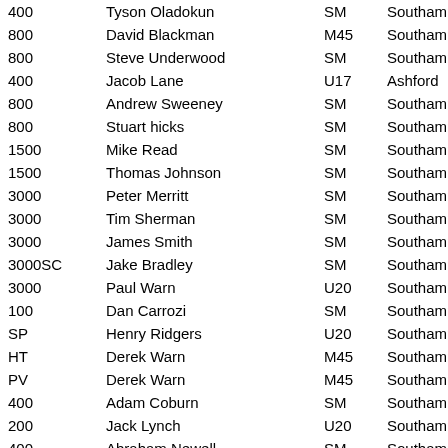| Event | Name | Category | Club |
| --- | --- | --- | --- |
| 400 | Tyson Oladokun | SM | Southamp |
| 800 | David Blackman | M45 | Southamp |
| 800 | Steve Underwood | SM | Southamp |
| 400 | Jacob Lane | U17 | Ashford |
| 800 | Andrew Sweeney | SM | Southamp |
| 800 | Stuart hicks | SM | Southamp |
| 1500 | Mike Read | SM | Southamp |
| 1500 | Thomas Johnson | SM | Southamp |
| 3000 | Peter Merritt | SM | Southamp |
| 3000 | Tim Sherman | SM | Southamp |
| 3000 | James Smith | SM | Southamp |
| 3000SC | Jake Bradley | SM | Southamp |
| 3000 | Paul Warn | U20 | Southamp |
| 100 | Dan Carrozi | SM | Southamp |
| SP | Henry Ridgers | U20 | Southamp |
| HT | Derek Warn | M45 | Southamp |
| PV | Derek Warn | M45 | Southamp |
| 400 | Adam Coburn | SM | Southamp |
| 200 | Jack Lynch | U20 | Southamp |
| 400 | Abraham Newell | SM | Southamp |
| 200 | Dan Carrozi | SM | Southamp |
| 800 | Martin Johnson | SM | Southamp |